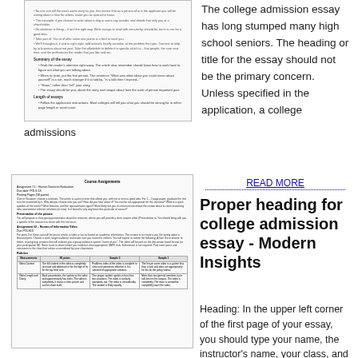[Figure (screenshot): Thumbnail of a college admission essay guide document showing sections on 'Summary of the essay' and 'Length of essays' with bullet points]
The college admission essay has long stumped many high school seniors. The heading or title for the essay should not be the primary concern. Unless specified in the application, a college
admissions
[Figure (screenshot): Thumbnail of a course assignment document titled 'Course Assignments' for Human Sciences Evaluation with assignment details, presentation criteria, and a rubric table with rows for Video Content and Video Length and Clarity]
READ MORE
Proper heading for college admission essay - Modern Insights
Heading: In the upper left corner of the first page of your essay, you should type your name, the instructor's name, your class, and the date, as follows: Your Name